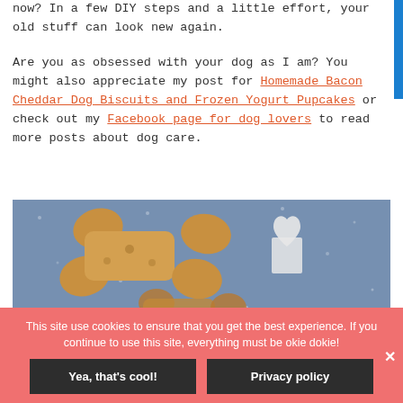now? In a few DIY steps and a little effort, your old stuff can look new again.
Are you as obsessed with your dog as I am? You might also appreciate my post for Homemade Bacon Cheddar Dog Biscuits and Frozen Yogurt Pupcakes or check out my Facebook page for dog lovers to read more posts about dog care.
[Figure (photo): Photo of homemade dog bone biscuits on a blue speckled surface with a white heart-shaped cookie cutter]
This site use cookies to ensure that you get the best experience. If you continue to use this site, everything must be okie dokie!
Yea, that's cool! | Privacy policy